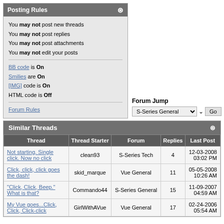Posting Rules
You may not post new threads
You may not post replies
You may not post attachments
You may not edit your posts
BB code is On
Smilies are On
[IMG] code is On
HTML code is Off
Forum Rules
Forum Jump
S-Series General
Similar Threads
| Thread | Thread Starter | Forum | Replies | Last Post |
| --- | --- | --- | --- | --- |
| Not starting. Single click. Now no click | clean93 | S-Series Tech | 4 | 12-03-2008 03:02 PM |
| Click, click, click goes the dash! | skid_marque | Vue General | 11 | 05-05-2008 10:26 AM |
| "Click, Click, Beep." What is that? | Commando44 | S-Series General | 15 | 11-09-2007 04:59 AM |
| My Vue goes...Click, Click, Click-click | GirlWithAVue | Vue General | 17 | 02-24-2006 05:54 AM |